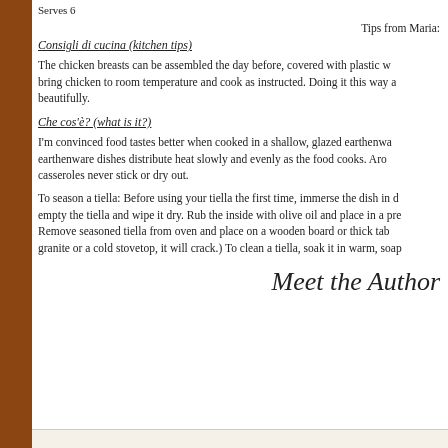Serves 6
Tips from Maria:
Consigli di cucina (kitchen tips)
The chicken breasts can be assembled the day before, covered with plastic w... bring chicken to room temperature and cook as instructed. Doing it this way a... beautifully.
Che cos'è? (what is it?)
I'm convinced food tastes better when cooked in a shallow, glazed earthenwa... earthenware dishes distribute heat slowly and evenly as the food cooks. Aro... casseroles never stick or dry out.
To season a tiella: Before using your tiella the first time, immerse the dish in d... empty the tiella and wipe it dry. Rub the inside with olive oil and place in a pre... Remove seasoned tiella from oven and place on a wooden board or thick tab... granite or a cold stovetop, it will crack.) To clean a tiella, soak it in warm, soap...
Meet the Author